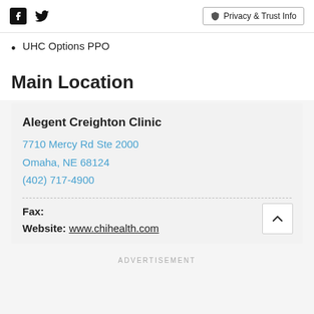Social icons (Facebook, Twitter) | Privacy & Trust Info
UHC Options PPO
Main Location
Alegent Creighton Clinic
7710 Mercy Rd Ste 2000
Omaha, NE 68124
(402) 717-4900
Fax:
Website: www.chihealth.com